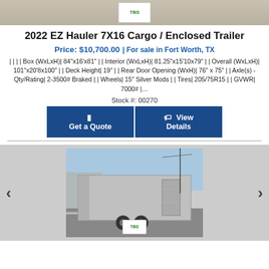[Figure (photo): Top cropped image showing TBS logo and gravel/ground background]
2022 EZ Hauler 7X16 Cargo / Enclosed Trailer
Price: $10,700.00 | For sale in Fort Worth, TX
| | | | Box (WxLxH)| 84"x16'x81" | | Interior (WxLxH)| 81.25"x15'10x79" | | Overall (WxLxH)| 101"x20'8x100" | | Deck Height| 19" | | Rear Door Opening (WxH)| 76" x 75" | | Axle(s) - Qty/Rating| 2-3500# Braked | | Wheels| 15" Silver Mods | | Tires| 205/75R15 | | GVWR| 7000# |...
Stock #: 00270
[Figure (other): Two dark blue buttons: 'Get a Quote' and 'View Details']
[Figure (photo): Silver enclosed cargo trailer photo with carousel navigation arrows and TBS logo]